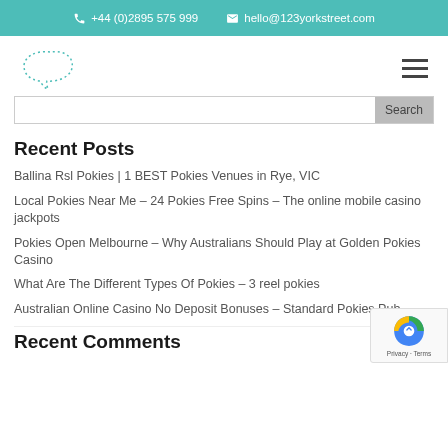+44 (0)2895 575 999   hello@123yorkstreet.com
[Figure (logo): Dotted outline of an abstract shape resembling a speech bubble or cloud, in teal/turquoise color]
Recent Posts
Ballina Rsl Pokies | 1 BEST Pokies Venues in Rye, VIC
Local Pokies Near Me – 24 Pokies Free Spins – The online mobile casino jackpots
Pokies Open Melbourne – Why Australians Should Play at Golden Pokies Casino
What Are The Different Types Of Pokies – 3 reel pokies
Australian Online Casino No Deposit Bonuses – Standard Pokies Pub
Recent Comments